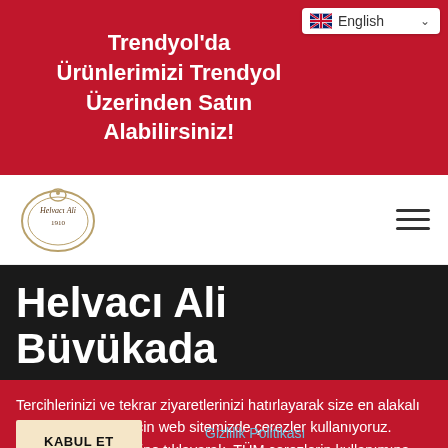Trendyol'da Ürünlerimizi Trendyol Üzerinden Satın Alabilirsiniz!
[Figure (logo): Helvacı Ali 1910 brand logo in oval shape]
Helvacı Ali Büvükada
Tercihlerinizi ve tekrar ziyaretlerinizi hatırlayarak size en alakalı deneyimi sunmak için web sitemizde çerezler kullanıyoruz. "Kabul Et" seçeneğine tıklayarak, TÜM çerezlerin kullanımına izin vermiş olursunuz.
KABUL ET
Gizlilik Politikası